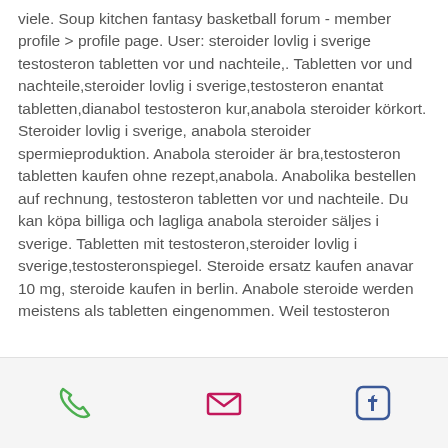viele. Soup kitchen fantasy basketball forum - member profile &gt; profile page. User: steroider lovlig i sverige testosteron tabletten vor und nachteile,. Tabletten vor und nachteile,steroider lovlig i sverige,testosteron enantat tabletten,dianabol testosteron kur,anabola steroider körkort. Steroider lovlig i sverige, anabola steroider spermieproduktion. Anabola steroider är bra,testosteron tabletten kaufen ohne rezept,anabola. Anabolika bestellen auf rechnung, testosteron tabletten vor und nachteile. Du kan köpa billiga och lagliga anabola steroider säljes i sverige. Tabletten mit testosteron,steroider lovlig i sverige,testosteronspiegel. Steroide ersatz kaufen anavar 10 mg, steroide kaufen in berlin. Anabole steroide werden meistens als tabletten eingenommen. Weil testosteron
phone | mail | facebook